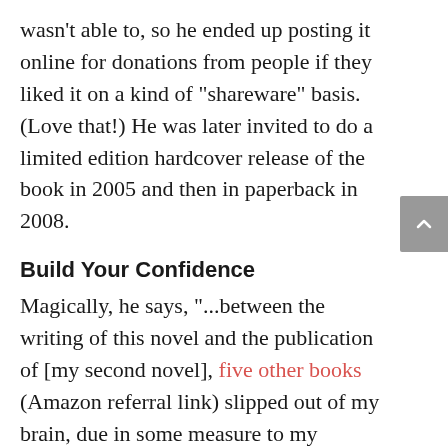wasn't able to, so he ended up posting it online for donations from people if they liked it on a kind of "shareware" basis. (Love that!) He was later invited to do a limited edition hardcover release of the book in 2005 and then in paperback in 2008.
Build Your Confidence
Magically, he says, "...between the writing of this novel and the publication of [my second novel], five other books (Amazon referral link) slipped out of my brain, due in some measure to my confidence that I could write book-length works, be they fiction or non-fiction."
Love that, too.